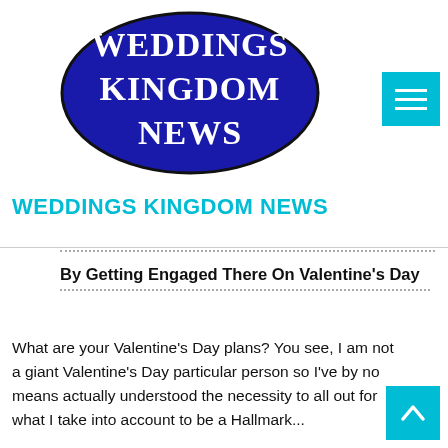[Figure (logo): Weddings Kingdom News oval logo — dark navy blue ellipse with white serif text reading WEDDINGS KINGDOM NEWS]
WEDDINGS KINGDOM NEWS
By Getting Engaged There On Valentine's Day
What are your Valentine's Day plans? You see, I am not a giant Valentine's Day particular person so I've by no means actually understood the necessity to all out for what I take into account to be a Hallmark...